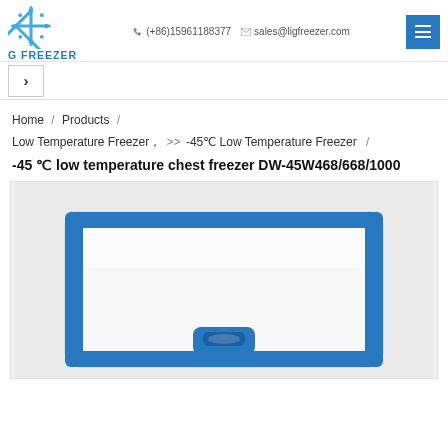G FREEZER | (+86)15961188377 | sales@ligfreezer.com
Home / Products / Low Temperature Freezer, >>-45°C Low Temperature Freezer / -45 °C low temperature chest freezer DW-45W468/668/1000
-45 °C low temperature chest freezer DW-45W468/668/1000
[Figure (photo): Photo of a white chest freezer with blue trim and a blue latch/handle on the lid, viewed from above at slight angle, showing the top surface and front edge.]